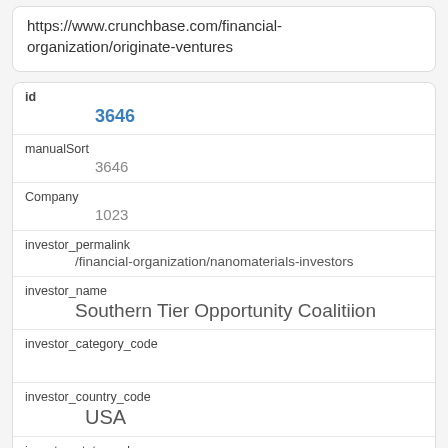https://www.crunchbase.com/financial-organization/originate-ventures
| field | value |
| --- | --- |
| id | 3646 |
| manualSort | 3646 |
| Company | 1023 |
| investor_permalink | /financial-organization/nanomaterials-investors |
| investor_name | Southern Tier Opportunity Coalitiion |
| investor_category_code |  |
| investor_country_code | USA |
| investor_state_code | NY |
| investor_region | Binghamton |